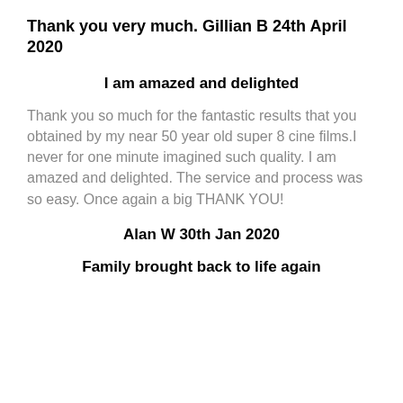Thank you very much. Gillian B 24th April 2020
I am amazed and delighted
Thank you so much for the fantastic results that you obtained by my near 50 year old super 8 cine films.I never for one minute imagined such quality. I am amazed and delighted. The service and process was so easy. Once again a big THANK YOU!
Alan W 30th Jan 2020
Family brought back to life again